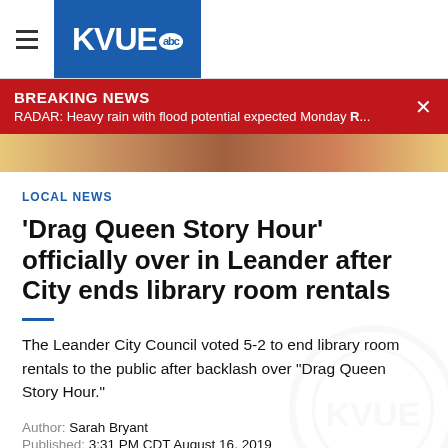KVUE abc
BREAKING NEWS
RADAR: Heavy rain with flood potential expected Monday R...
[Figure (photo): Partial image strip showing food or colorful items in background]
LOCAL NEWS
'Drag Queen Story Hour' officially over in Leander after City ends library room rentals
The Leander City Council voted 5-2 to end library room rentals to the public after backlash over "Drag Queen Story Hour."
Author: Sarah Bryant
Published: 3:31 PM CDT August 16, 2019